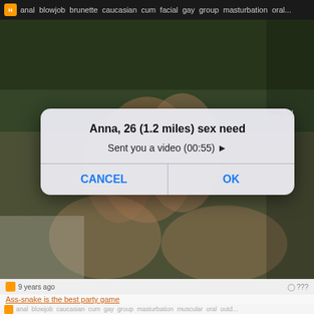anal blowjob brunette caucasian cum facial gay group masturbation oral...
[Figure (screenshot): Blurred/obscured adult video thumbnail showing outdoor scene with figures]
Anna, 26 (1.2 miles) sex need
Sent you a video (00:55) ►
CANCEL    OK
Close Ad
9 years ago    ???
Ass-snake is the best party game
anal blowjob caucasian cum gay group masturbation muscular oral outd...